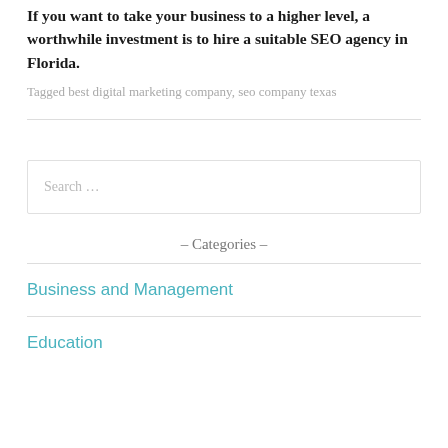If you want to take your business to a higher level, a worthwhile investment is to hire a suitable SEO agency in Florida.
Tagged best digital marketing company, seo company texas
Search …
- Categories -
Business and Management
Education